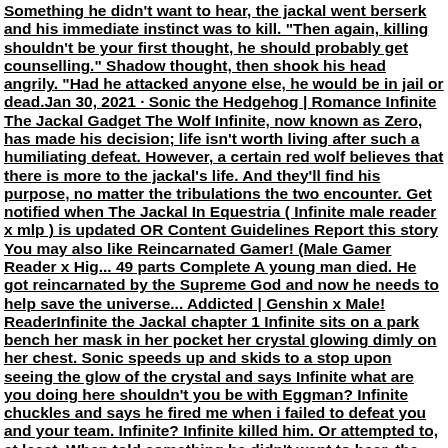Something he didn't want to hear, the jackal went berserk and his immediate instinct was to kill. "Then again, killing shouldn't be your first thought, he should probably get counselling." Shadow thought, then shook his head angrily. "Had he attacked anyone else, he would be in jail or dead.Jan 30, 2021 · Sonic the Hedgehog | Romance Infinite The Jackal Gadget The Wolf Infinite, now known as Zero, has made his decision; life isn't worth living after such a humiliating defeat. However, a certain red wolf believes that there is more to the jackal's life. And they'll find his purpose, no matter the tribulations the two encounter. Get notified when The Jackal In Equestria ( Infinite male reader x mlp ) is updated OR Content Guidelines Report this story You may also like Reincarnated Gamer! (Male Gamer Reader x Hig... 49 parts Complete A young man died. He got reincarnated by the Supreme God and now he needs to help save the universe... Addicted | Genshin x Male! ReaderInfinite the Jackal chapter 1 Infinite sits on a park bench her mask in her pocket her crystal glowing dimly on her chest. Sonic speeds up and skids to a stop upon seeing the glow of the crystal and says Infinite what are you doing here shouldn't you be with Eggman? Infinite chuckles and says he fired me when i failed to defeat you and your team. Infinite? Infinite killed him. Or attempted to, at least. When told something he didn't want to hear, the jackal went berserk and his immediate instinct was to kill. "Then again, killing shouldn't be your first thought, he should